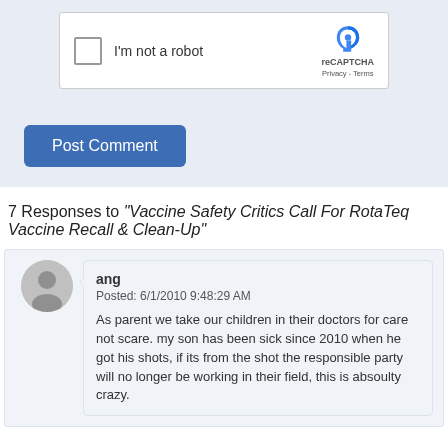[Figure (screenshot): reCAPTCHA widget with checkbox labeled 'I'm not a robot' and reCAPTCHA logo with Privacy and Terms links]
Post Comment
7 Responses to "Vaccine Safety Critics Call For RotaTeq Vaccine Recall & Clean-Up"
ang
Posted: 6/1/2010 9:48:29 AM

As parent we take our children in their doctors for care not scare. my son has been sick since 2010 when he got his shots, if its from the shot the responsible party will no longer be working in their field, this is absoulty crazy.